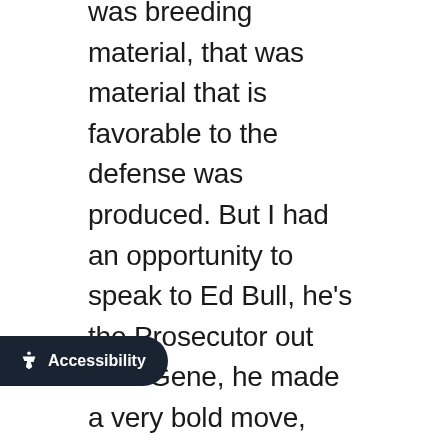was breeding material, that was material that is favorable to the defense was produced. But I had an opportunity to speak to Ed Bull, he's the Prosecutor out their Gene, he made a very bold move, he's the head guy, and you know I love that. The head guy actually rolled up his sleeves, went in there, and tried this very difficult case. And they knew it was difficult but his argument was that I believe in my heart when I asked him will you look for the other murderer if this guy's found not guilty, this will always keep those investigative